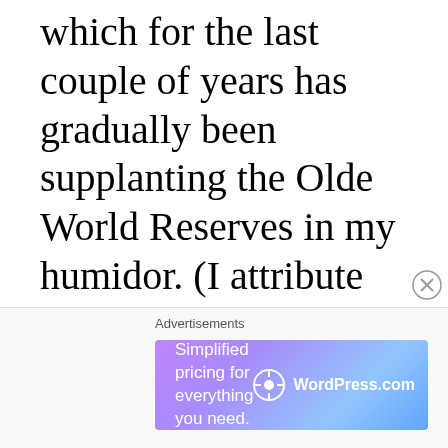which for the last couple of years has gradually been supplanting the Olde World Reserves in my humidor. (I attribute the decline of the OWR — or what I perceive as such — to the prodigious number of blends in the RP portfolio. Maintaining consistency over that many
Advertisements
[Figure (screenshot): WordPress.com advertisement banner with gradient purple-to-blue background. Text reads 'Simplified pricing for everything you need.' with WordPress.com logo on the right.]